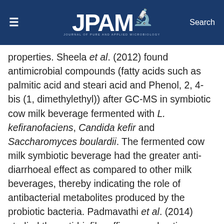JPAM — Journal of Pure and Applied Microbiology
properties. Sheela et al. (2012) found antimicrobial compounds (fatty acids such as palmitic acid and stearic acid and Phenol, 2, 4-bis (1, dimethylethyl)) after GC-MS in symbiotic cow milk beverage fermented with L. kefiranofaciens, Candida kefir and Saccharomyces boulardii. The fermented cow milk symbiotic beverage had the greater anti-diarrhoeal effect as compared to other milk beverages, thereby indicating the role of antibacterial metabolites produced by the probiotic bacteria. Padmavathi et al. (2014) studied the anti-biofilm efficacy and anti-quorum sensing of the metabolites produced by marine Vibrio alginolyticus G16 against Serratia marcescens and found the active compound as phenol, 2, 4-bis (1,1-dimethylethyl) after